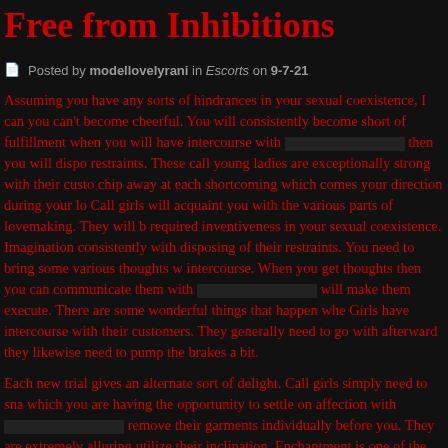Free from Inhibitions
Posted by modellovelyrani in Escorts on 9-7-21
Assuming you have any sorts of hindrances in your sexual coexistence, I can you can't become cheerful. You will consistently become short of fulfillment when you will have intercourse with [redacted] then you will dispose of restraints. These call young ladies are exceptionally strong with their customers and chip away at each shortcoming which comes your direction during your lovemaking. Call girls will acquaint you with the various parts of lovemaking. They will bring required inventiveness in your sexual coexistence. Imagination consistently assists with disposing of their restraints. You need to bring some various thoughts while intercourse. When you get thoughts then you can communicate them with [redacted] will make them execute. There are some wonderful things that happen when Call Girls have intercourse with their customers. They generally need to go with the flow, afterward they likewise need to pump the brakes a bit.
Each new trial gives an alternate sort of delight. Call girls simply need to snap which you are having the opportunity to settle on affection with [redacted] remove their garments individually before you. They are extremely alluring so utilize their inclination. Enchantment is one of the devices which they use to